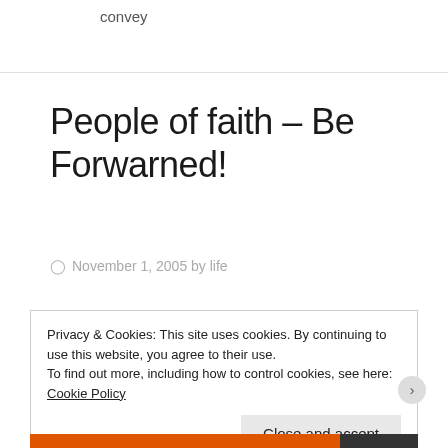convey
People of faith – Be Forwarned!
November 1, 2005 by life
Privacy & Cookies: This site uses cookies. By continuing to use this website, you agree to their use.
To find out more, including how to control cookies, see here: Cookie Policy
Close and accept